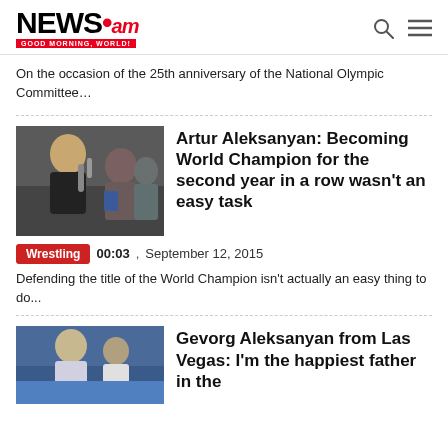NEWS.am GOOD MORNING, WORLD!
On the occasion of the 25th anniversary of the National Olympic Committee…
[Figure (photo): Photo of Artur Aleksanyan being interviewed with microphones]
Artur Aleksanyan: Becoming World Champion for the second year in a row wasn't an easy task
Wrestling  00:03  ,  September 12, 2015
Defending the title of the World Champion isn't actually an easy thing to do...
[Figure (photo): Photo of Gevorg Aleksanyan in athletic setting]
Gevorg Aleksanyan from Las Vegas: I'm the happiest father in the